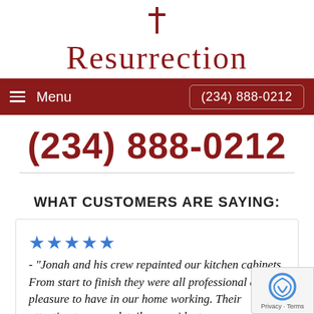[Figure (logo): Resurrection logo with red cross above stylized serif text]
Menu   (234) 888-0212
(234) 888-0212
WHAT CUSTOMERS ARE SAYING:
★★★★★ - "Jonah and his crew repainted our kitchen cabinets. From start to finish they were all professional and a pleasure to have in our home working. Their attention to every detail was evident